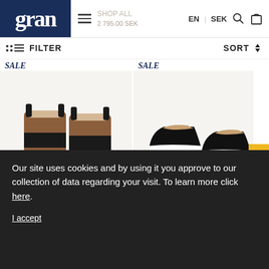gran | EN | SEK
FILTER   SORT
SALE
[Figure (photo): Brown leather Chelsea boots with black elastic side panels and chunky black sole]
SALE
[Figure (photo): Black suede pointed-toe flats with a white stripe across the vamp]
414g wa...
2 795.00 SEK 1...  ...%
SALE
Our site uses cookies and by using it you approve to our collection of data regarding your visit. To learn more click here.

I accept